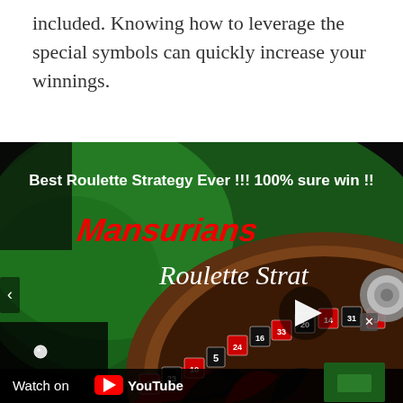included. Knowing how to leverage the special symbols can quickly increase your winnings.
[Figure (screenshot): YouTube video thumbnail showing 'Best Roulette Strategy Ever !!! 100% sure win !!' with text 'Mansurians Roulette Strat' on a green background, a roulette wheel visible at the bottom with numbers 8, 23, 10, 5, 24, 16, 33, 20, 14, 31, 9, and a play button in the center. A 'Watch on YouTube' bar is at the bottom.]